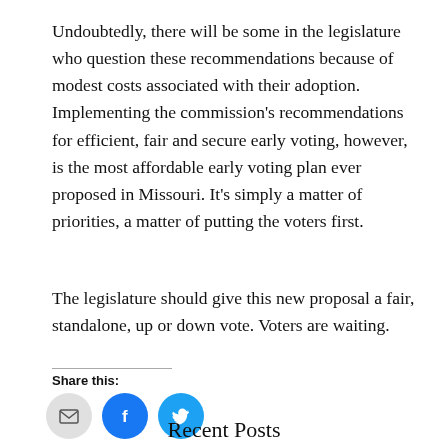Undoubtedly, there will be some in the legislature who question these recommendations because of modest costs associated with their adoption. Implementing the commission's recommendations for efficient, fair and secure early voting, however, is the most affordable early voting plan ever proposed in Missouri. It's simply a matter of priorities, a matter of putting the voters first.
The legislature should give this new proposal a fair, standalone, up or down vote. Voters are waiting.
Share this:
[Figure (infographic): Social share icons: email (grey circle), Facebook (blue circle with f), Twitter (blue circle with bird)]
Recent Posts